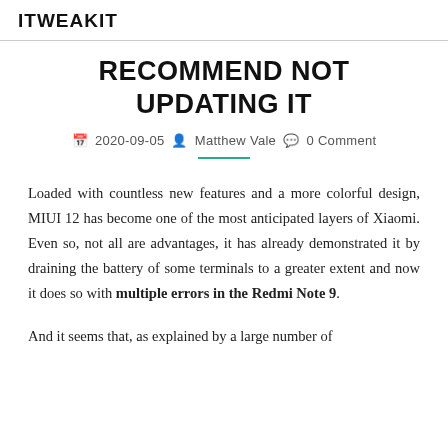ITWEAKIT
RECOMMEND NOT UPDATING IT
2020-09-05  Matthew Vale  0 Comment
Loaded with countless new features and a more colorful design, MIUI 12 has become one of the most anticipated layers of Xiaomi. Even so, not all are advantages, it has already demonstrated it by draining the battery of some terminals to a greater extent and now it does so with multiple errors in the Redmi Note 9.
And it seems that, as explained by a large number of